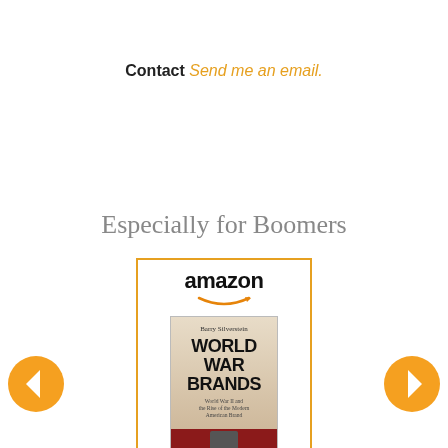Contact Send me an email.
Especially for Boomers
[Figure (other): Amazon product widget showing the book 'WORLD WAR BRANDS' by Barry Silverstein, priced at $5.99, with a 'Shop now' button and Amazon logo]
[Figure (other): Left navigation arrow button (orange circle with white left arrow)]
[Figure (other): Right navigation arrow button (orange circle with white right arrow)]